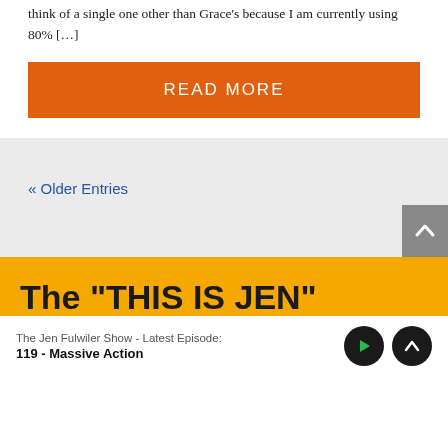think of a single one other than Grace's because I am currently using 80% […]
READ MORE
« Older Entries
The "THIS IS JEN"
The Jen Fulwiler Show - Latest Episode:
119 - Massive Action